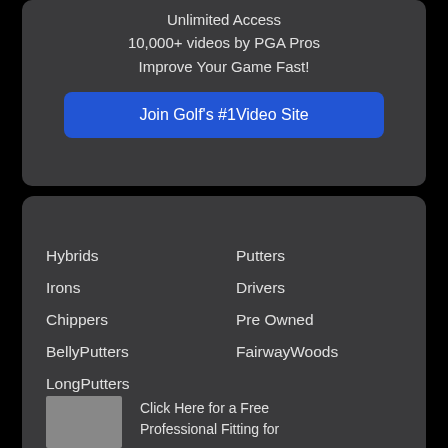Unlimited Access
10,000+ videos by PGA Pros
Improve Your Game Fast!
Join Golf's #1 Video Site
Hybrids
Putters
Irons
Drivers
Chippers
Pre Owned
BellyPutters
FairwayWoods
LongPutters
Click Here for a Free Professional Fitting for